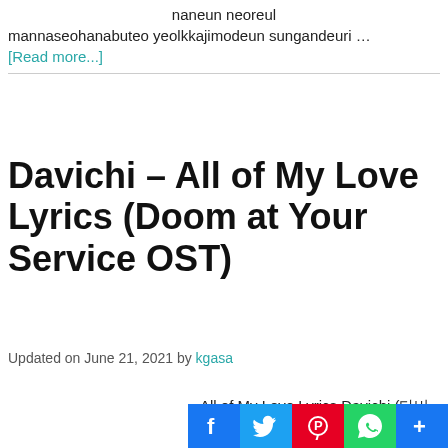naneun neoreul mannaseohanabuteo yeolkkajimodeun sungandeuri …
[Read more...]
Davichi – All of My Love Lyrics (Doom at Your Service OST)
Updated on June 21, 2021 by kgasa
All of My Love Lyrics Davichi (다비치) Single: Doom at Your Service OST🎵 5Genre: South Pop Label: music